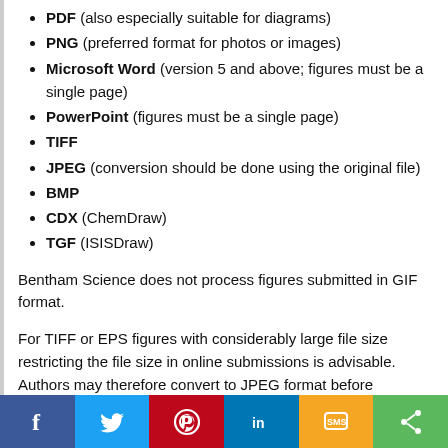PDF (also especially suitable for diagrams)
PNG (preferred format for photos or images)
Microsoft Word (version 5 and above; figures must be a single page)
PowerPoint (figures must be a single page)
TIFF
JPEG (conversion should be done using the original file)
BMP
CDX (ChemDraw)
TGF (ISISDraw)
Bentham Science does not process figures submitted in GIF format.
For TIFF or EPS figures with considerably large file size restricting the file size in online submissions is advisable. Authors may therefore convert to JPEG format before submission as this results in significantly reduced file size and upload time, while retaining acceptable quality. JPEG is a ‘lossy’ format. However, in order to maintain acceptable image quality, it is recommended that JPEG files are saved at High or Maximum quality.
Zipit or Stuffit tools should not be used to compress files prior to submission as the resulting compression through
[Figure (infographic): Social media sharing bar with icons: Facebook (blue), Twitter (light blue), Pinterest (red), LinkedIn (dark blue), SMS (yellow/orange), Share (green)]